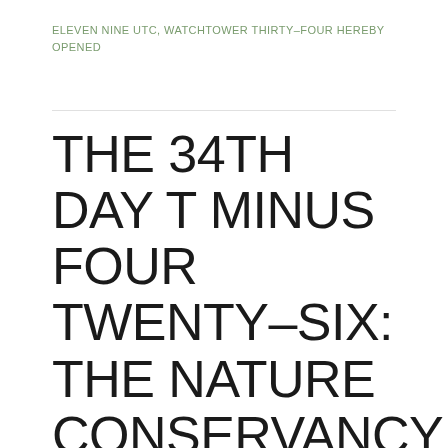ELEVEN NINE UTC, WATCHTOWER THIRTY-FOUR HEREBY OPENED
THE 34TH DAY T MINUS FOUR TWENTY-SIX: THE NATURE CONSERVANCY GROUNDS FOUND IN MOST MERCURIAL PROXIMITY TO THE BURROW MAINLINE LONG SINCE BEAT THE